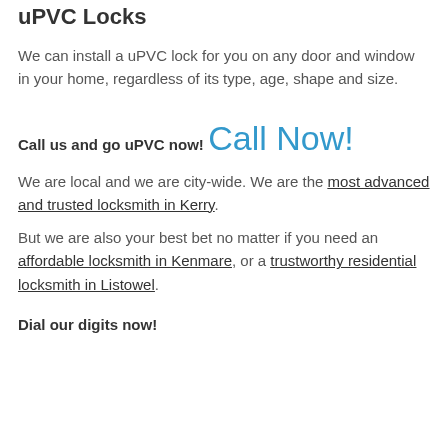uPVC Locks
We can install a uPVC lock for you on any door and window in your home, regardless of its type, age, shape and size.
Call us and go uPVC now!
Call Now!
We are local and we are city-wide. We are the most advanced and trusted locksmith in Kerry.
But we are also your best bet no matter if you need an affordable locksmith in Kenmare, or a trustworthy residential locksmith in Listowel.
Dial our digits now!